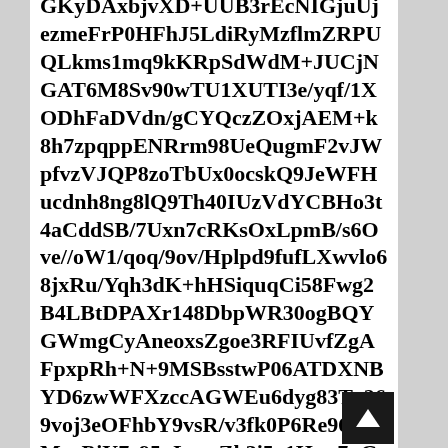GKyDAxbjvXD+UUB3rEcNIGjuUjezmeFrP0HFhJ5LdiRyMzflmZRPUQLkms1mq9kKRpSdWdM+JUCjNGAT6M8Sv90wTU1XUTI3e/yqf/1XODhFaDVdn/gCYQczZOxjAEM+k8h7zpqppENRrm98UeQugmF2vJWpfvzVJQP8zoTbUx0ocskQ9JeWFHucdnh8ng8lQ9Th40IUzVdYCBHo3t4aCddSB/7Uxn7cRKsOxLpmB/s6Ove//oW1/qoq/9ov/Hplpd9fufLXwvlo68jxRu/Yqh3dK+hHSiquqCi58Fwg2B4LBtDPAXr148DbpWR30ogBQYGWmgCyAneoxsZgoe3RFIUvfZgAFpxpRh+N+9MSBsstwP06ATDXNBYD6zwWFXzccAGWEu6dyg83Tx269voj3eOFhbY9vsR/v3fk0P6Re96g/zMcaPjY7e95uLm+Zk3i5a1Hnn7qGNMD4/Dtw4wX7GRAtagNZEdjw6SR3QUWJZowqeTOI8SeZzXDE2SfpJK60C4HInw/1NJxWnzbQx+59SuPX3